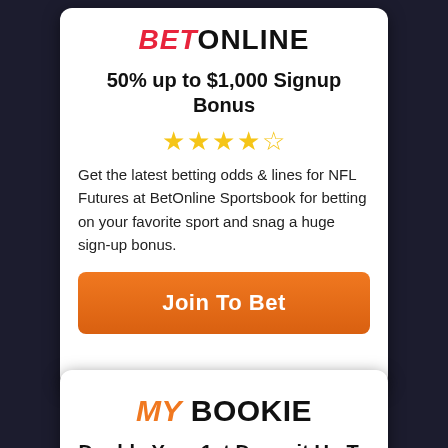BETONLINE
50% up to $1,000 Signup Bonus
[Figure (other): 4.5 star rating shown with gold stars]
Get the latest betting odds & lines for NFL Futures at BetOnline Sportsbook for betting on your favorite sport and snag a huge sign-up bonus.
Join To Bet
MY BOOKIE
Double Your 1st Deposit Up To $1000